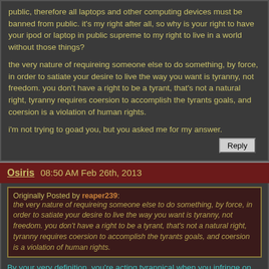public, therefore all laptops and other computing devices must be banned from public. it's my right after all, so why is your right to have your ipod or laptop in public supreme to my right to live in a world without those things?
the very nature of requireing someone else to do something, by force, in order to satiate your desire to live the way you want is tyranny, not freedom. you don't have a right to be a tyrant, that's not a natural right, tyranny requires coersion to accomplish the tyrants goals, and coersion is a violation of human rights.
i'm not trying to goad you, but you asked me for my answer.
Osiris 08:50 AM Feb 26th, 2013
Originally Posted by reaper239: the very nature of requireing someone else to do something, by force, in order to satiate your desire to live the way you want is tyranny, not freedom. you don't have a right to be a tyrant, that's not a natural right, tyranny requires coersion to accomplish the tyrants goals, and coersion is a violation of human rights.
By your very definition, you're acting tyrannical when you infringe on my right to live in an area without guns. You don't have the right to do so. Your goal is to finally be permitted to do whatever you like with your firearms which, by your very definition, is coercive in nature, and thereby violates my human rights. It's not so easy to re-write a law that is just, and encompasses the needs of the populous, is it? You can't arbitrarily decide what is good for another person, simply because you believe it is.